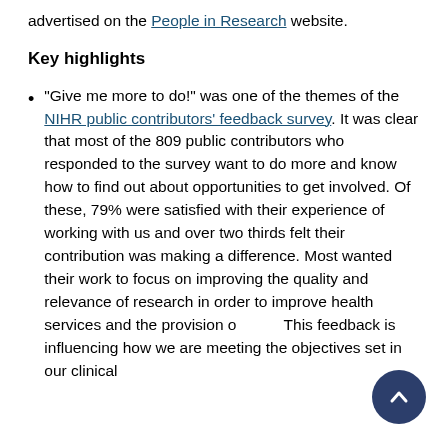advertised on the People in Research website.
Key highlights
“Give me more to do!” was one of the themes of the NIHR public contributors’ feedback survey. It was clear that most of the 809 public contributors who responded to the survey want to do more and know how to find out about opportunities to get involved. Of these, 79% were satisfied with their experience of working with us and over two thirds felt their contribution was making a difference. Most wanted their work to focus on improving the quality and relevance of research in order to improve health services and the provision o… This feedback is influencing how we are meeting the objectives set in our clinical…